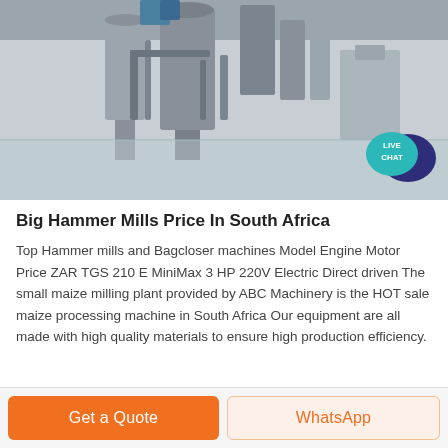[Figure (photo): Industrial factory interior showing large milling/processing machinery, silos, pipes, and equipment on a polished floor]
[Figure (other): Live Chat speech bubble badge in teal and dark blue colors]
Big Hammer Mills Price In South Africa
Top Hammer mills and Bagcloser machines Model Engine Motor Price ZAR TGS 210 E MiniMax 3 HP 220V Electric Direct driven The small maize milling plant provided by ABC Machinery is the HOT sale maize processing machine in South Africa Our equipment are all made with high quality materials to ensure high production efficiency.
Get a Quote
WhatsApp